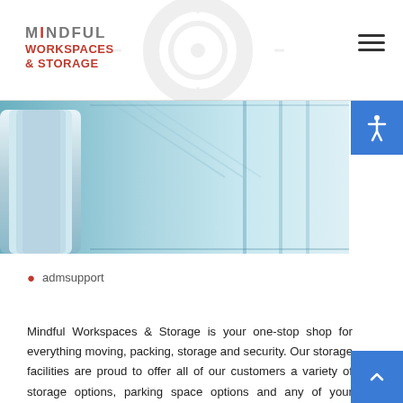MINDFUL WORKSPACES & STORAGE
[Figure (photo): Photograph of storage facility corridor with large rolled materials and teal/blue tones]
admsupport
Mindful Workspaces & Storage is your one-stop shop for everything moving, packing, storage and security. Our storage facilities are proud to offer all of our customers a variety of storage options, parking space options and any of your storage needs. With